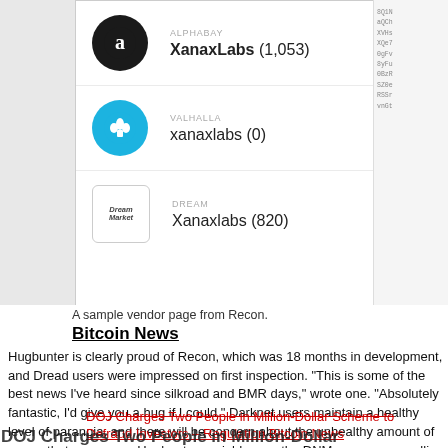[Figure (screenshot): A sample vendor page from Recon showing vendor listings across three dark web markets: AlphaBay (XanaxLabs, 1053 reviews), Valhalla (xanaxlabs, 0 reviews), and Dream Market (Xanaxlabs, 820 reviews), with partial cryptographic keys visible on the right side.]
A sample vendor page from Recon.
Bitcoin News
Hugbunter is clearly proud of Recon, which was 18 months in development, and Dread users were impressed on first inspection. “This is some of the best news I’ve heard since silkroad and BMR days,” wrote one. “Absolutely fantastic, I’d give you a hug if I could.” Darknet users maintain a healthy level of paranoia, and there will be concern about the unhealthy amount of power that one man – Hugbunter – wields over the DNM economy, recalling the fate of other darknet leaders like Dread Pirate Roberts. For now, though, the darknet community seems happy to trust the success of its leading marketplaces and the release of a dedicated search engine with the potential to build trust and minimize
DOJ Charges Two People in Million-Dollar Scheme to Defraud Investors – Regulation Bitcoin News
DOJ Charges Two People in Million-Dollar Scheme to Defraud Investors – Regulation Bitcoin News